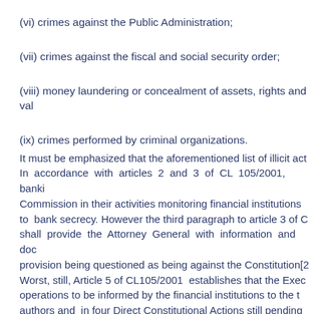(vi) crimes against the Public Administration;
(vii) crimes against the fiscal and social security order;
(viii) money laundering or concealment of assets, rights and val…
(ix) crimes performed by criminal organizations.
It must be emphasized that the aforementioned list of illicit act… In accordance with articles 2 and 3 of CL 105/2001, banki… Commission in their activities monitoring financial institutions… to bank secrecy. However the third paragraph to article 3 of CL… shall provide the Attorney General with information and doc… provision being questioned as being against the Constitution[2… Worst, still, Article 5 of CL105/2001 establishes that the Execu… operations to be informed by the financial institutions to the t… authors and in four Direct Constitutional Actions still pending…